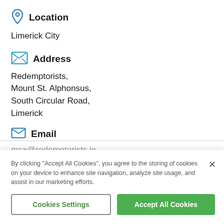Location
Limerick City
Address
Redemptorists,
Mount St. Alphonsus,
South Circular Road,
Limerick
Email
msa@redemptorists.ie
By clicking “Accept All Cookies”, you agree to the storing of cookies on your device to enhance site navigation, analyze site usage, and assist in our marketing efforts.